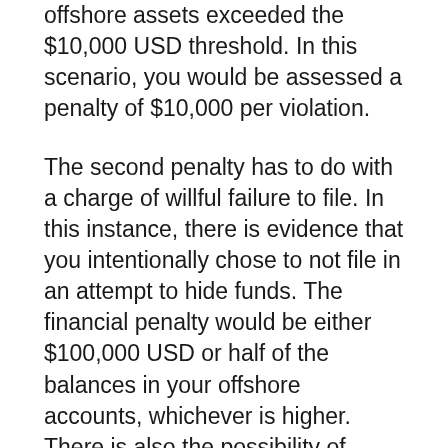offshore assets exceeded the $10,000 USD threshold. In this scenario, you would be assessed a penalty of $10,000 per violation.
The second penalty has to do with a charge of willful failure to file. In this instance, there is evidence that you intentionally chose to not file in an attempt to hide funds. The financial penalty would be either $100,000 USD or half of the balances in your offshore accounts, whichever is higher. There is also the possibility of further penalties, up to and including jail time.
Being assessed a civil penalty does not automatically preclude the possibility of being charged with a criminal offense. A lot depends on the circumstances surrounding the failure to file. The IRS could issue a warning in lieu of